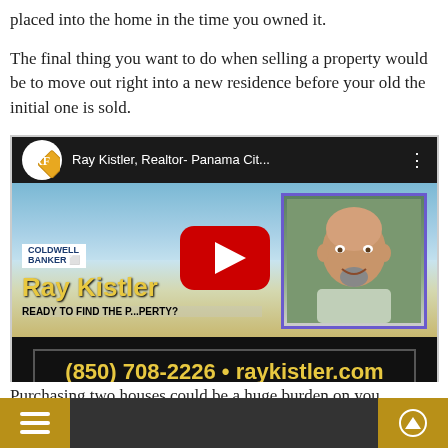placed into the home in the time you owned it.
The final thing you want to do when selling a property would be to move out right into a new residence before your old the initial one is sold.
[Figure (screenshot): YouTube video thumbnail for Ray Kistler, Realtor- Panama Cit... showing a Coldwell Banker advertisement with Ray Kistler name, a photo of a bald man with a goatee, beach background, and phone number (850) 708-2226 raykistler.com]
Purchasing two houses could be a huge burden on you